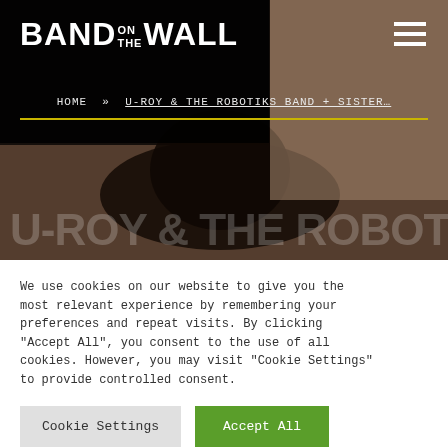[Figure (screenshot): Hero image of a dark background with a leather hat visible, showing the Band on the Wall website header]
BAND ON THE WALL
HOME » U-ROY & THE ROBOTIKS BAND + SISTER…
U-ROY & THE ROBOTIKS
We use cookies on our website to give you the most relevant experience by remembering your preferences and repeat visits. By clicking "Accept All", you consent to the use of all cookies. However, you may visit "Cookie Settings" to provide controlled consent.
Cookie Settings
Accept All